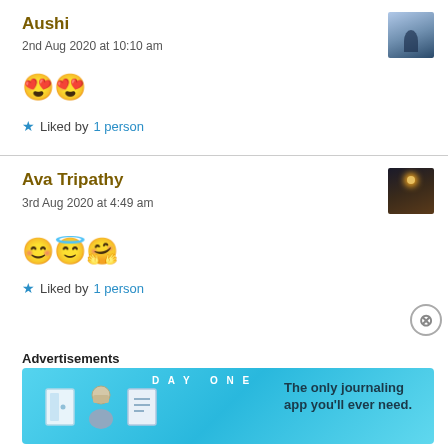Aushi
2nd Aug 2020 at 10:10 am
[Figure (photo): Avatar image: silhouette figure in misty blue landscape]
😍😍
★ Liked by 1 person
Ava Tripathy
3rd Aug 2020 at 4:49 am
[Figure (photo): Avatar image: dark silhouette with lights/sparkle]
😊😇🤗
★ Liked by 1 person
Advertisements
[Figure (other): DAY ONE app advertisement banner: The only journaling app you'll ever need.]